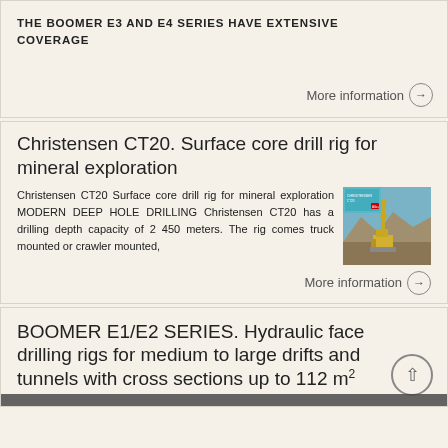THE BOOMER E3 AND E4 SERIES HAVE EXTENSIVE COVERAGE
More information →
Christensen CT20. Surface core drill rig for mineral exploration
Christensen CT20 Surface core drill rig for mineral exploration MODERN DEEP HOLE DRILLING Christensen CT20 has a drilling depth capacity of 2 450 meters. The rig comes truck mounted or crawler mounted,
[Figure (photo): Photo of Christensen CT20 surface core drill rig operating at a mine site in mountainous terrain, with a teal/cyan brochure cover overlay in the top left corner]
More information →
BOOMER E1/E2 SERIES. Hydraulic face drilling rigs for medium to large drifts and tunnels with cross sections up to 112 m²
BOOMER E1/E2 SERIES. Hydraulic drilling face...